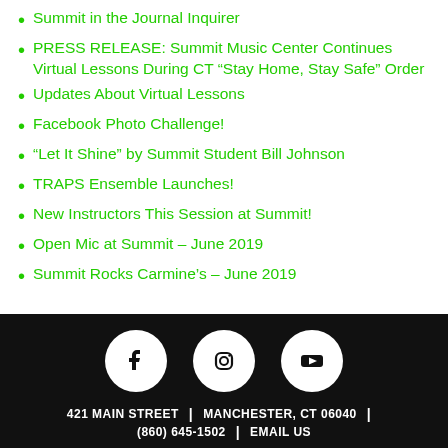Summit in the Journal Inquirer
PRESS RELEASE: Summit Music Center Continues Virtual Lessons During CT “Stay Home, Stay Safe” Order
Updates About Virtual Lessons
Facebook Photo Challenge!
“Let It Shine” by Summit Student Bill Johnson
TRAPS Ensemble Launches!
New Instructors This Session at Summit!
Open Mic at Summit – June 2019
Summit Rocks Carmine’s – June 2019
[Figure (logo): Black footer bar with Facebook, Instagram, and YouTube social media icons (white circles), address line: 421 MAIN STREET | MANCHESTER, CT 06040 |, and phone/email line: (860) 645-1502 | EMAIL US]
421 MAIN STREET | MANCHESTER, CT 06040 | (860) 645-1502 | EMAIL US